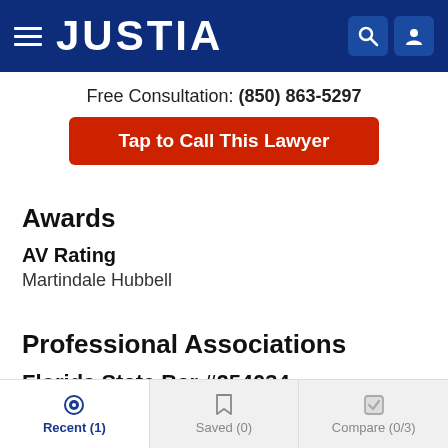JUSTIA
Free Consultation: (850) 863-5297
Tap to Call This Lawyer
Awards
AV Rating
Martindale Hubbell
Professional Associations
Florida State Bar #254034
Recent (1)   Saved (0)   Compare (0/3)